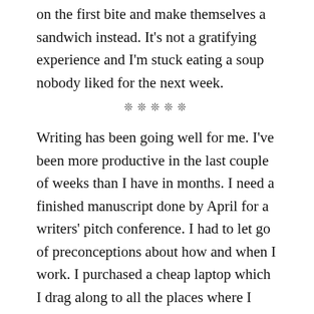on the first bite and make themselves a sandwich instead. It's not a gratifying experience and I'm stuck eating a soup nobody liked for the next week.
❊❊❊❊❊
Writing has been going well for me. I've been more productive in the last couple of weeks than I have in months. I need a finished manuscript done by April for a writers' pitch conference. I had to let go of preconceptions about how and when I work. I purchased a cheap laptop which I drag along to all the places where I wait – all my daughter's rehearsals and lessons and practices.
I finally trained myself to use Scrivener, which I had